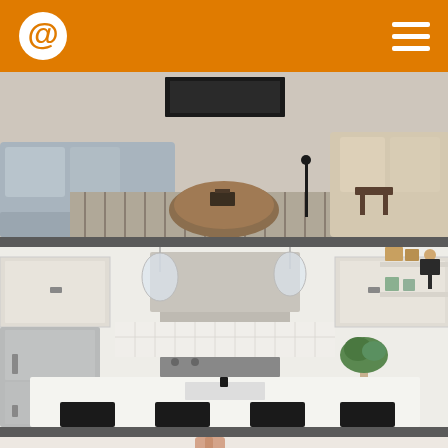Logo and navigation hamburger menu
[Figure (photo): Interior living room with a gray sofa, striped rug, round wooden coffee table, and beige accent chairs. Wall paneling and a fireplace visible in the background.]
[Figure (photo): Modern white kitchen with a large island, white quartz countertop, black bar stools, stainless steel refrigerator, range hood, pendant lights, and open shelving with decorative items.]
[Figure (photo): Partial view of a person pointing upward in a bright white interior space.]